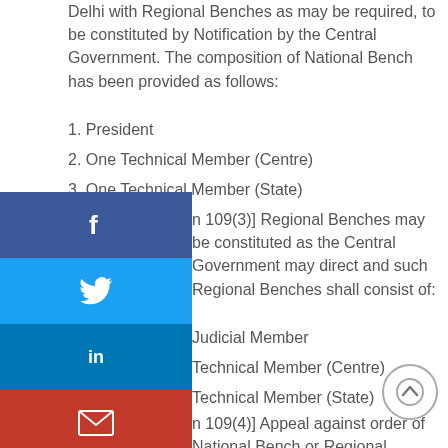Delhi with Regional Benches as may be required, to be constituted by Notification by the Central Government. The composition of National Bench has been provided as follows:
1. President
2. One Technical Member (Centre)
3. One Technical Member (State)
[Section 109(3)] Regional Benches may be constituted as the Central Government may direct and such Regional Benches shall consist of:
1. One Judicial Member
2. One Technical Member (Centre)
3. One Technical Member (State)
[Section 109(4)] Appeal against order of National Bench or Regional Benches of the Appellate